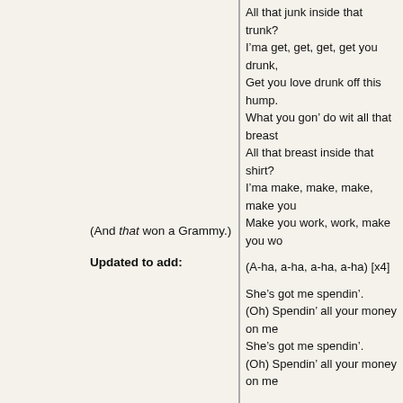All that junk inside that trunk?
I'ma get, get, get, get you drunk,
Get you love drunk off this hump.
What you gon' do wit all that breast,
All that breast inside that shirt?
I'ma make, make, make, make you work,
Make you work, work, make you work.

(A-ha, a-ha, a-ha, a-ha) [x4]

She's got me spendin'.
(Oh) Spendin' all your money on me
She's got me spendin'.
(Oh) Spendin' all your money on me
(And that won a Grammy.)
Updated to add: